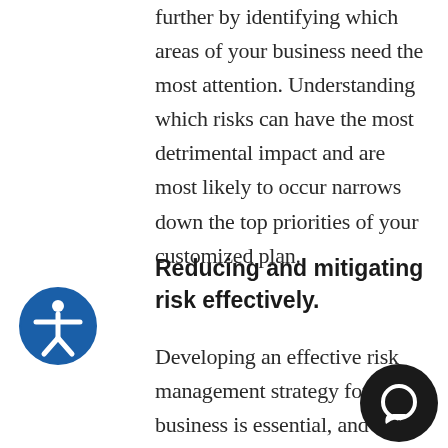further by identifying which areas of your business need the most attention. Understanding which risks can have the most detrimental impact and are most likely to occur narrows down the top priorities of your customized plan.
Reducing and mitigating risk effectively.
Developing an effective risk management strategy for your business is essential, and understanding which risk factors to prioritize over others is the key to successfully minimizing and managing